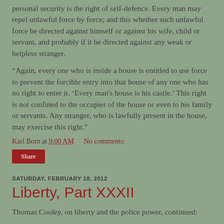personal security is the right of self-defence. Every man may repel unlawful force by force; and this whether such unlawful force be directed against himself or against his wife, child or servant, and probably if it be directed against any weak or helpless stranger.
“Again, every one who is inside a house is entitled to use force to prevent the forcible entry into that house of any one who has no right to enter it. ‘Every man’s house is his castle.’ This right is not confined to the occupier of the house or even to his family or servants. Any stranger, who is lawfully present in the house, may exercise this right.”
Karl Born at 9:00 AM    No comments:
Share
SATURDAY, FEBRUARY 18, 2012
Liberty, Part XXXII
Thomas Cooley, on liberty and the police power, continued: